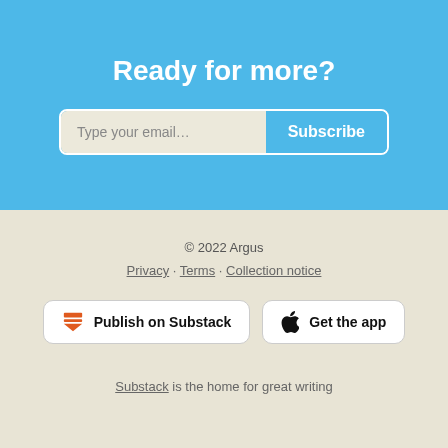Ready for more?
Type your email... Subscribe
© 2022 Argus
Privacy · Terms · Collection notice
Publish on Substack
Get the app
Substack is the home for great writing